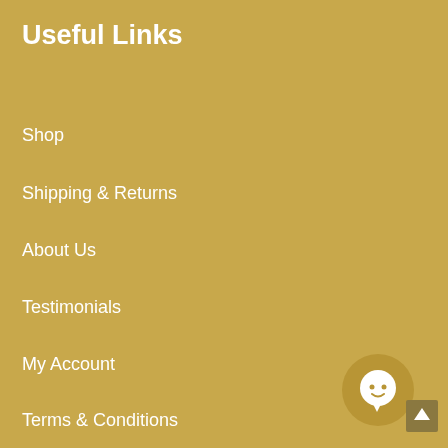Useful Links
Shop
Shipping & Returns
About Us
Testimonials
My Account
Terms & Conditions
Privacy
Corporate & Wholesale
Get Paid To Promote Us
Affiliate Area
[Figure (illustration): Chat bubble icon (dark gold circle with white speech bubble) and a scroll-to-top arrow button]